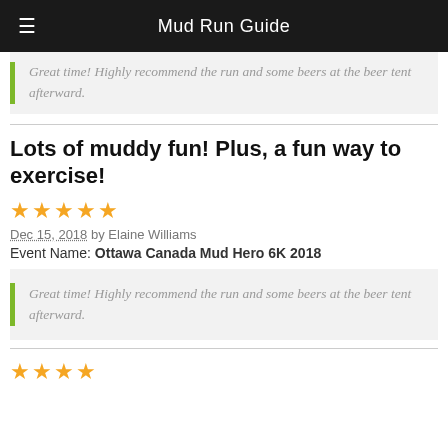Mud Run Guide
Great time! Highly recommend the run and some beers at the beer tent afterward.
Lots of muddy fun! Plus, a fun way to exercise!
Dec 15, 2018 by Elaine Williams
Event Name: Ottawa Canada Mud Hero 6K 2018
Great time! Highly recommend the run and some beers at the beer tent afterward.